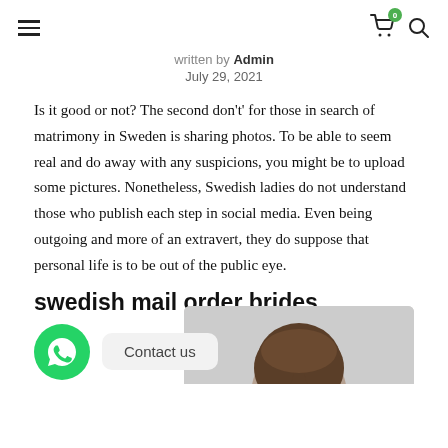Navigation menu, cart (0), search
written by Admin
July 29, 2021
Is it good or not? The second don't' for those in search of matrimony in Sweden is sharing photos. To be able to seem real and do away with any suspicions, you might be to upload some pictures. Nonetheless, Swedish ladies do not understand those who publish each step in social media. Even being outgoing and more of an extravert, they do suppose that personal life is to be out of the public eye.
swedish mail order brides
[Figure (other): WhatsApp contact button and chat bubble saying 'Contact us', with a photo of a person partially visible]